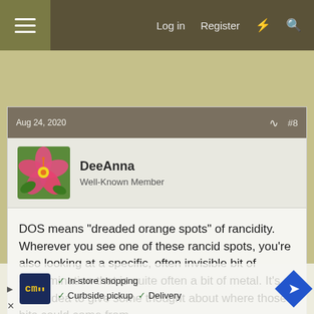Log in  Register
Aug 24, 2020  #8
DeeAnna
Well-Known Member
DOS means "dreaded orange spots" of rancidity. Wherever you see one of these rancid spots, you're also looking at a specific, often invisible bit of contamination that is quite often a bit of metal. It's a good idea to give some thought about where those bits could come from.

Some of it is in the ingredients we use -- fats, water, lye, e...with equip...ly from...